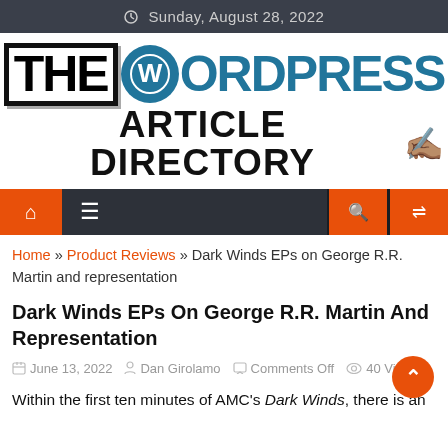Sunday, August 28, 2022
[Figure (logo): The WordPress Article Directory logo with WordPress W icon]
[Figure (screenshot): Navigation bar with home icon, menu icon, search icon, shuffle icon on dark background with orange buttons]
Home » Product Reviews » Dark Winds EPs on George R.R. Martin and representation
Dark Winds EPs On George R.R. Martin And Representation
June 13, 2022  Dan Girolamo  Comments Off  40 Views
Within the first ten minutes of AMC's Dark Winds, there is an